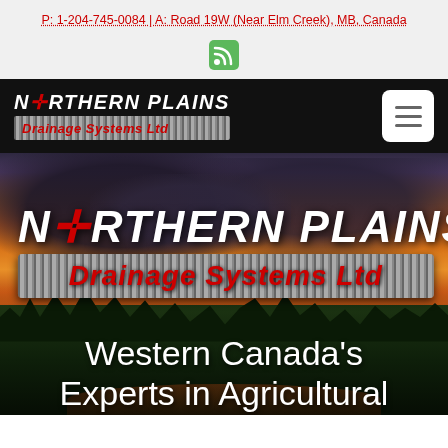P: 1-204-745-0084 | A: Road 19W (Near Elm Creek), MB, Canada
[Figure (logo): RSS feed icon - green rounded square with white RSS symbol]
[Figure (logo): Northern Plains Drainage Systems Ltd navigation bar logo on black background with hamburger menu button]
[Figure (photo): Hero image of a dramatic sunset over farm fields with trees, overlaid with Northern Plains Drainage Systems Ltd logo and text 'Western Canada's Experts in Agricultural']